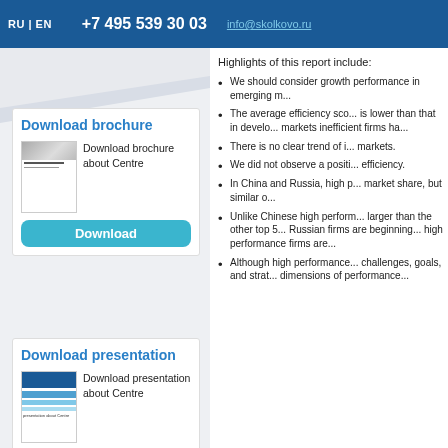RU | EN   +7 495 539 30 03   info@skolkovo.ru
[Figure (illustration): Decorative diagonal light grey shape on left column background]
Download brochure
[Figure (photo): Thumbnail of brochure document cover]
Download brochure about Centre
Download
Download presentation
[Figure (photo): Thumbnail of presentation document cover with blue stripes]
Download presentation about Centre
Highlights of this report include:
We should consider growth performance in emerging m...
The average efficiency sco... is lower than that in develo... markets inefficient firms ha...
There is no clear trend of i... markets.
We did not observe a positi... efficiency.
In China and Russia, high p... market share, but similar o...
Unlike Chinese high perform... larger than the other top 5... Russian firms are beginning... high performance firms are...
Although high performance... challenges, goals, and strat... dimensions of performance...